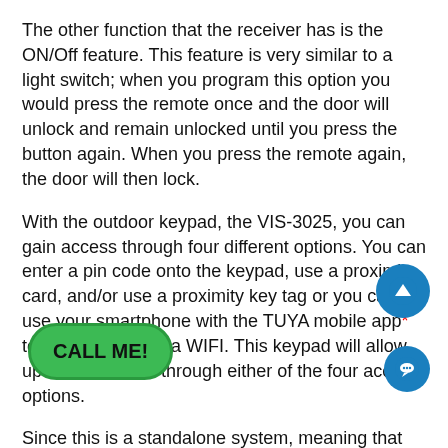The other function that the receiver has is the ON/Off feature. This feature is very similar to a light switch; when you program this option you would press the remote once and the door will unlock and remain unlocked until you press the button again. When you press the remote again, the door will then lock.
With the outdoor keypad, the VIS-3025, you can gain access through four different options. You can enter a pin code onto the keypad, use a proximity card, and/or use a proximity key tag or you can use your smartphone with the TUYA mobile app* to open the door via WIFI. This keypad will allow up to 1000 users through either of the four access options.
Since this is a standalone system, meaning that there is no software, it is recommended for you to keep a record of personnel and their assigned user ID with key code, key... On the keypad, you will notice a doorbell button. This will allow people from the outside to ring the doorbell and notify those inside that there is...